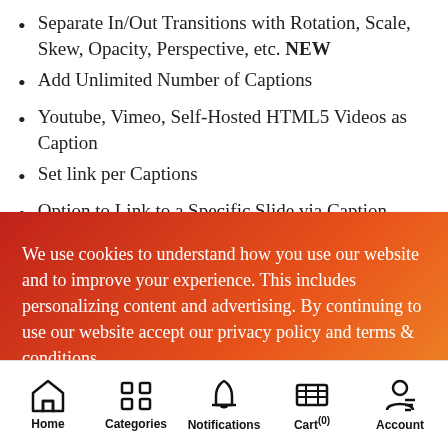Separate In/Out Transitions with Rotation, Scale, Skew, Opacity, Perspective, etc. NEW
Add Unlimited Number of Captions
Youtube, Vimeo, Self-Hosted HTML5 Videos as Caption
Set link per Captions
Option to Link to a Specific Slide via Caption
We use cookies to understand how you use our website and to improve your experience. This includes personalizing content and advertising. By continuing to use our website accept our privacy policy and terms & conditions.
I agree
Home  Categories  Notifications  Cart (0)  Account